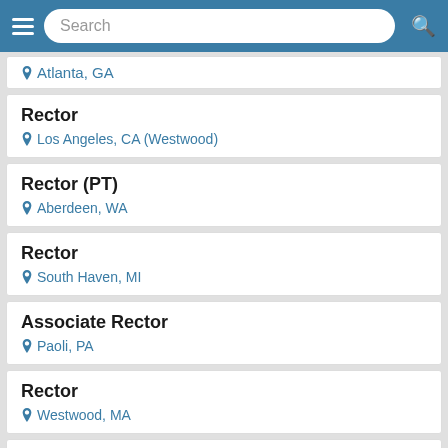Search
Atlanta, GA
Rector | Los Angeles, CA (Westwood)
Rector (PT) | Aberdeen, WA
Rector | South Haven, MI
Associate Rector | Paoli, PA
Rector | Westwood, MA
Bishop Coadjutor